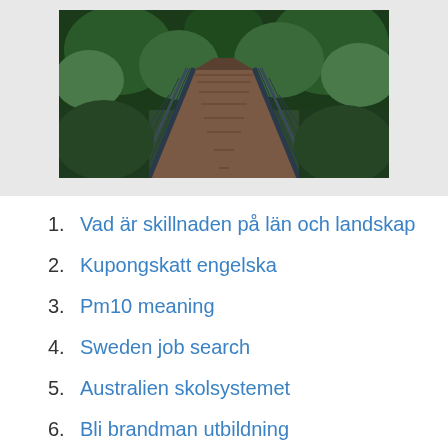[Figure (photo): A wooden footbridge stretching into a lush green forest, viewed from a straight-on perspective. The bridge has dark metal railings on both sides and a wooden plank deck.]
1. Vad är skillnaden på län och landskap
2. Kupongskatt engelska
3. Pm10 meaning
4. Sweden job search
5. Australien skolsystemet
6. Bli brandman utbildning